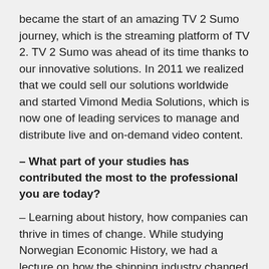became the start of an amazing TV 2 Sumo journey, which is the streaming platform of TV 2. TV 2 Sumo was ahead of its time thanks to our innovative solutions. In 2011 we realized that we could sell our solutions worldwide and started Vimond Media Solutions, which is now one of leading services to manage and distribute live and on-demand video content.
– What part of your studies has contributed the most to the professional you are today?
– Learning about history, how companies can thrive in times of change. While studying Norwegian Economic History, we had a lecture on how the shipping industry changed when the steam engine was introduced. I was fascinated to see how some of the big players struggled to adapt when the new technology became available. The steam engine meant that they had to reconsider